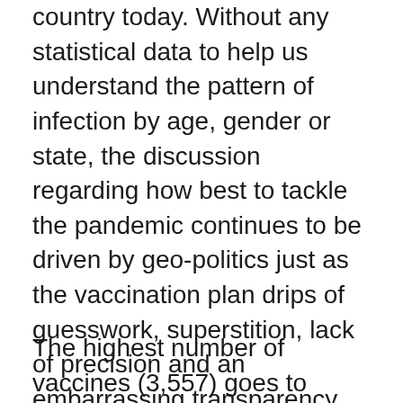country today. Without any statistical data to help us understand the pattern of infection by age, gender or state, the discussion regarding how best to tackle the pandemic continues to be driven by geo-politics just as the vaccination plan drips of guesswork, superstition, lack of precision and an embarrassing transparency deficit. Of the 100,000 doses of Pfizer/BioNTech coronavirus vaccine we are expecting, for instance, the Executive Director of the National Primary Healthcare Development Agency (NPHCDA), Faisal Shuaib, has released a sharing formula.
The highest number of vaccines (3,557) goes to Kano while Cross River State with ‘no known case’ of infection gets 1,202, for